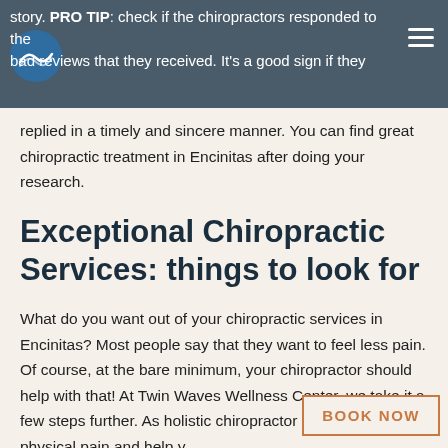story. PRO TIP: check if the chiropractors responded to the bad reviews that they received. It's a good sign if they
replied in a timely and sincere manner. You can find great chiropractic treatment in Encinitas after doing your research.
Exceptional Chiropractic Services: things to look for
What do you want out of your chiropractic services in Encinitas? Most people say that they want to feel less pain. Of course, at the bare minimum, your chiropractor should help with that! At Twin Waves Wellness Center, we take it a few steps further. As holistic chiropractors, we not only relieve you from physical pain and help you overcome